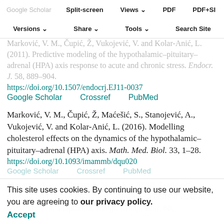Split-screen | Views | PDF | PDF+SI
Versions | Share | Tools | Search Site
Marković, V. M., Čupić, Ž, Vukojević, V. and Kolar-Anić, L. (2011). Predictive modeling of the hypothalamic–pituitary–adrenal (HPA) axis response to acute and chronic stress. Endocr. J. 58, 889–904. https://doi.org/10.1507/endocrj.EJ11-0037
Google Scholar  Crossref  PubMed
Marković, V. M., Čupić, Ž, Maćešić, S., Stanojević, A., Vukojević, V. and Kolar-Anić, L. (2016). Modelling cholesterol effects on the dynamics of the hypothalamic–pituitary–adrenal (HPA) axis. Math. Med. Biol. 33, 1–28. https://doi.org/10.1093/imammb/dqu020
Google Scholar  Crossref  PubMed
This site uses cookies. By continuing to use our website, you are agreeing to our privacy policy. Accept